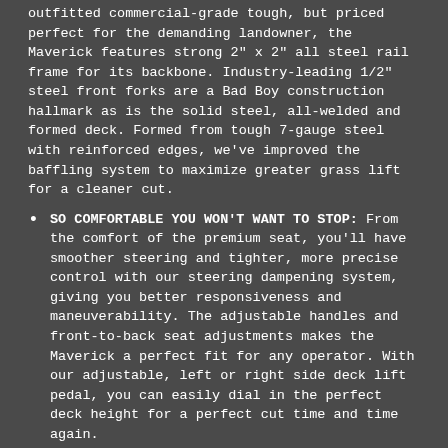outfitted commercial-grade tough, but priced perfect for the demanding landowner, the Maverick features strong 2" x 2" all steel rail frame for its backbone. Industry-leading 1/2" steel front forks are a Bad Boy construction hallmark as is the solid steel, all-welded and formed deck. Formed from tough 7-gauge steel with reinforced edges, we've improved the baffling system to maximize greater grass lift for a cleaner cut.
SO COMFORTABLE YOU WON'T WANT TO STOP: From the comfort of the premium seat, you'll have smoother steering and tighter, more precise control with our steering dampening system, giving you better responsiveness and maneuverability. The adjustable handles and front-to-back seat adjustments makes the Maverick a perfect fit for any operator. With our adjustable, left or right side deck lift pedal, you can easily dial in the perfect deck height for a perfect cut time and time again.
LEGENDARY DECK STRENGTH: Formed and welded 7-gauge all-steel deck with reinforced edges is the strongest at this price.